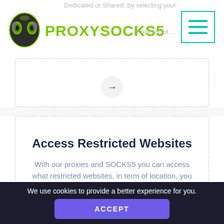PROXYSOCKS5 — navigation bar with logo and hamburger menu
Dedicated or Shared; by selecting your desired IP … in few minut…
[Figure (other): Partially visible card with arrow circle at bottom]
Access Restricted Websites
With our proxies and SOCKS5 you can access what restricted websites, in term of location, you want.
We use cookies to provide a better experience for you.
ACCEPT